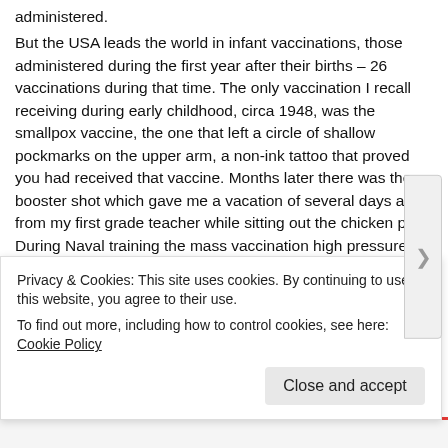administered.
But the USA leads the world in infant vaccinations, those administered during the first year after their births – 26 vaccinations during that time. The only vaccination I recall receiving during early childhood, circa 1948, was the smallpox vaccine, the one that left a circle of shallow pockmarks on the upper arm, a non-ink tattoo that proved you had received that vaccine. Months later there was the booster shot which gave me a vacation of several days away from my first grade teacher while sitting out the chicken pox.
During Naval training the mass vaccination high pressure hand held gun that replaced syringes and needles was tried on us with the polio shot. I wound up with a vacation in the base infirmary with an extended period of the flu. Between those two, there may have been a tetanus shot or two.
From the Healthy Home Economist:
In 1950 there were 7 childhood vaccines typically given…
Privacy & Cookies: This site uses cookies. By continuing to use this website, you agree to their use.
To find out more, including how to control cookies, see here: Cookie Policy
Close and accept